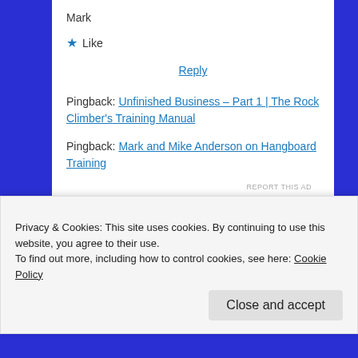Mark
★ Like
Reply
Pingback: Unfinished Business – Part 1 | The Rock Climber's Training Manual
Pingback: Mark and Mike Anderson on Hangboard Training
REPORT THIS AD
Privacy & Cookies: This site uses cookies. By continuing to use this website, you agree to their use.
To find out more, including how to control cookies, see here: Cookie Policy
Close and accept